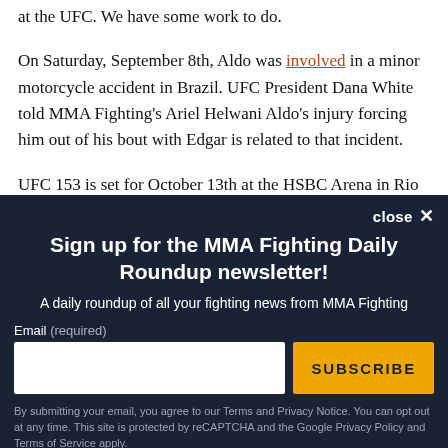at the UFC. We have some work to do.
On Saturday, September 8th, Aldo was involved in a minor motorcycle accident in Brazil. UFC President Dana White told MMA Fighting's Ariel Helwani Aldo's injury forcing him out of his bout with Edgar is related to that incident.
UFC 153 is set for October 13th at the HSBC Arena in Rio
Sign up for the MMA Fighting Daily Roundup newsletter!
A daily roundup of all your fighting news from MMA Fighting
Email (required)
SUBSCRIBE
By submitting your email, you agree to our Terms and Privacy Notice. You can opt out at any time. This site is protected by reCAPTCHA and the Google Privacy Policy and Terms of Service apply.